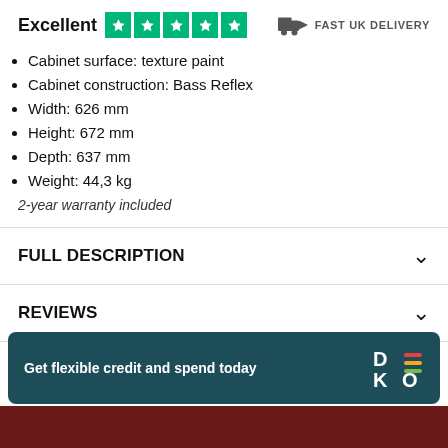Excellent ★★★★★   FAST UK DELIVERY
Cabinet surface: texture paint
Cabinet construction: Bass Reflex
Width: 626 mm
Height: 672 mm
Depth: 637 mm
Weight: 44,3 kg
2-year warranty included
FULL DESCRIPTION
REVIEWS
Get flexible credit and spend today